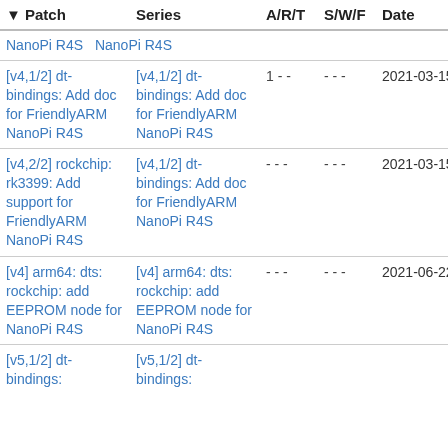| Patch | Series | A/R/T | S/W/F | Date | Submitter |
| --- | --- | --- | --- | --- | --- |
| NanoPi R4S | NanoPi R4S |  |  |  |  |
| [v4,1/2] dt-bindings: Add doc for FriendlyARM NanoPi R4S | [v4,1/2] dt-bindings: Add doc for FriendlyARM NanoPi R4S | 1 - - | - - - | 2021-03-15 | Tianling Shen |
| [v4,2/2] rockchip: rk3399: Add support for FriendlyARM NanoPi R4S | [v4,1/2] dt-bindings: Add doc for FriendlyARM NanoPi R4S | - - - | - - - | 2021-03-15 | Tianling Shen |
| [v4] arm64: dts: rockchip: add EEPROM node for NanoPi R4S | [v4] arm64: dts: rockchip: add EEPROM node for NanoPi R4S | - - - | - - - | 2021-06-22 | Tianling Shen |
| [v5,1/2] dt-bindings: | [v5,1/2] dt-bindings: |  |  |  |  |